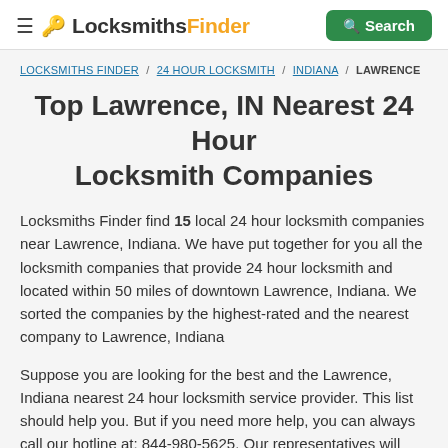≡ LocksmithsFinder  Search
LOCKSMITHS FINDER / 24 HOUR LOCKSMITH / INDIANA / LAWRENCE
Top Lawrence, IN Nearest 24 Hour Locksmith Companies
Locksmiths Finder find 15 local 24 hour locksmith companies near Lawrence, Indiana. We have put together for you all the locksmith companies that provide 24 hour locksmith and located within 50 miles of downtown Lawrence, Indiana. We sorted the companies by the highest-rated and the nearest company to Lawrence, Indiana
Suppose you are looking for the best and the Lawrence, Indiana nearest 24 hour locksmith service provider. This list should help you. But if you need more help, you can always call our hotline at: 844-980-5625. Our representatives will